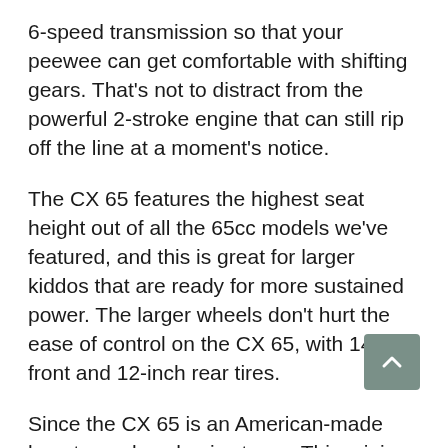6-speed transmission so that your peewee can get comfortable with shifting gears. That's not to distract from the powerful 2-stroke engine that can still rip off the line at a moment's notice.
The CX 65 features the highest seat height out of all the 65cc models we've featured, and this is great for larger kiddos that are ready for more sustained power. The larger wheels don't hurt the ease of control on the CX 65, with 14-inch front and 12-inch rear tires.
Since the CX 65 is an American-made beast, resale value is strong. This mini motorcycle has launched early riders into serious motocross careers, so it's no wonder robust Cobra dirt bikes are still high in demand.
Upgrade-wise, the CX 65 is unfortunately the highest power that Cobra has to offer from their